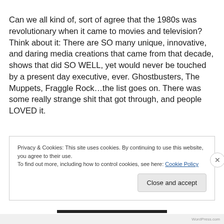Can we all kind of, sort of agree that the 1980s was revolutionary when it came to movies and television? Think about it: There are SO many unique, innovative, and daring media creations that came from that decade, shows that did SO WELL, yet would never be touched by a present day executive, ever. Ghostbusters, The Muppets, Fraggle Rock…the list goes on. There was some really strange shit that got through, and people LOVED it.
Privacy & Cookies: This site uses cookies. By continuing to use this website, you agree to their use.
To find out more, including how to control cookies, see here: Cookie Policy